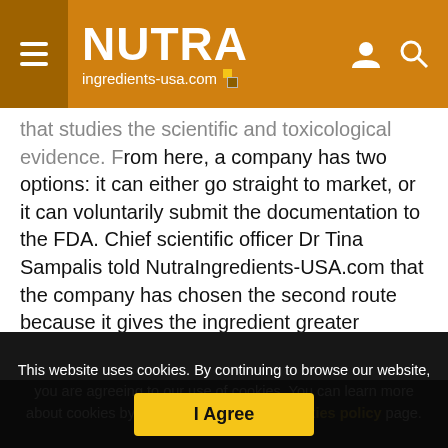NUTRA ingredients-usa.com
that studies the scientific and toxicological evidence. From here, a company has two options: it can either go straight to market, or it can voluntarily submit the documentation to the FDA. Chief scientific officer Dr Tina Sampalis told NutraIngredients-USA.com that the company has chosen the second route because it gives the ingredient greater weight. The FDA usually takes three or more months to give its opinion, but Neptune is confident of a positive opinion since its panel of experts - Richard Kraska, PhD, DABT, Robert McQuate, PhD, and Stanley Omaye, PhD - have all worked
This website uses cookies. By continuing to browse our website, you are agreeing to our use of cookies. You can learn more about cookies by visiting our privacy & cookies policy page.
I Agree